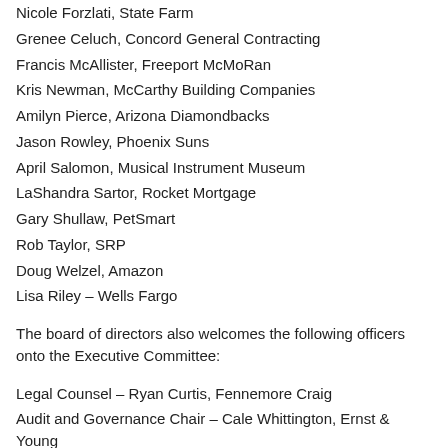Nicole Forzlati, State Farm
Grenee Celuch, Concord General Contracting
Francis McAllister, Freeport McMoRan
Kris Newman, McCarthy Building Companies
Amilyn Pierce, Arizona Diamondbacks
Jason Rowley, Phoenix Suns
April Salomon, Musical Instrument Museum
LaShandra Sartor, Rocket Mortgage
Gary Shullaw, PetSmart
Rob Taylor, SRP
Doug Welzel, Amazon
Lisa Riley – Wells Fargo
The board of directors also welcomes the following officers onto the Executive Committee:
Legal Counsel – Ryan Curtis, Fennemore Craig
Audit and Governance Chair – Cale Whittington, Ernst & Young
Diversity & Inclusion Chair – Laura Lynn Smith, ADP, Inc.
Finance Committee Chair – Brent Cannon, National Bank of Arizona
Human Resources Chair – Scott Smith, TowerHunter
Nominating Committee Chair – Mike Tilton, Blue Cross Blue Shield of